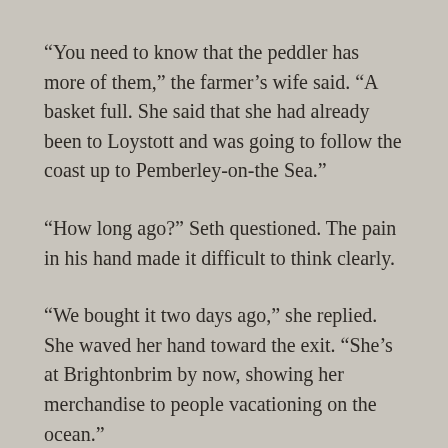“You need to know that the peddler has more of them,” the farmer’s wife said. “A basket full. She said that she had already been to Loystott and was going to follow the coast up to Pemberley-on-the Sea.”
“How long ago?” Seth questioned. The pain in his hand made it difficult to think clearly.
“We bought it two days ago,” she replied. She waved her hand toward the exit. “She’s at Brightonbrim by now, showing her merchandise to people vacationing on the ocean.”
Seth thanked her again, surveyed the room for